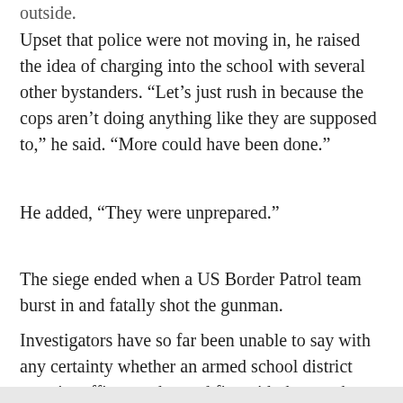outside.
Upset that police were not moving in, he raised the idea of charging into the school with several other bystanders. “Let’s just rush in because the cops aren’t doing anything like they are supposed to,” he said. “More could have been done.”
He added, “They were unprepared.”
The siege ended when a US Border Patrol team burst in and fatally shot the gunman.
Investigators have so far been unable to say with any certainty whether an armed school district security officer exchanged fire with the attacker.